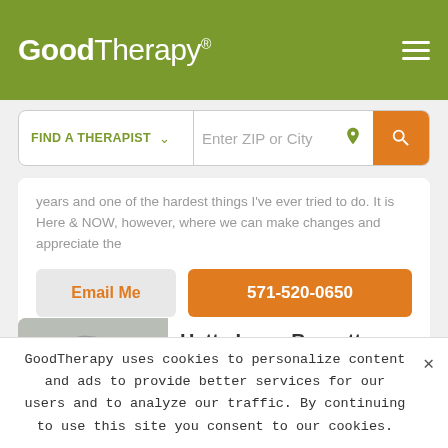GoodTherapy®
FIND A THERAPIST   Enter ZIP or City
years and one of the hardest things I've ever tried to do. It is Here & NOW, however, where we can make changes and appreciate the
Email Me   571-520-0650
Hetty Irmer Barnett
LCSW-C
Counselor, Marriage & Family Therapist, Psychotherapist
Verified
GoodTherapy uses cookies to personalize content and ads to provide better services for our users and to analyze our traffic. By continuing to use this site you consent to our cookies.